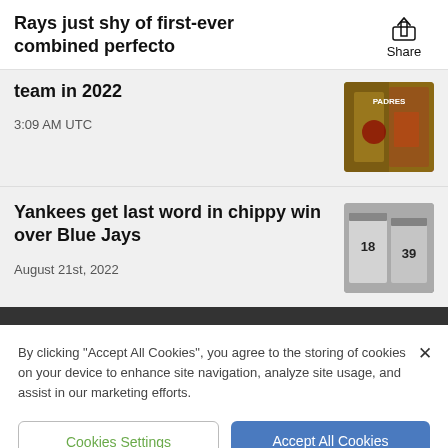Rays just shy of first-ever combined perfecto
team in 2022
3:09 AM UTC
Yankees get last word in chippy win over Blue Jays
August 21st, 2022
By clicking "Accept All Cookies", you agree to the storing of cookies on your device to enhance site navigation, analyze site usage, and assist in our marketing efforts.
Cookies Settings
Accept All Cookies